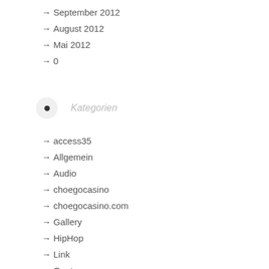September 2012
August 2012
Mai 2012
0
Kategorien
access35
Allgemein
Audio
choegocasino
choegocasino.com
Gallery
HipHop
Link
Quote
Standard